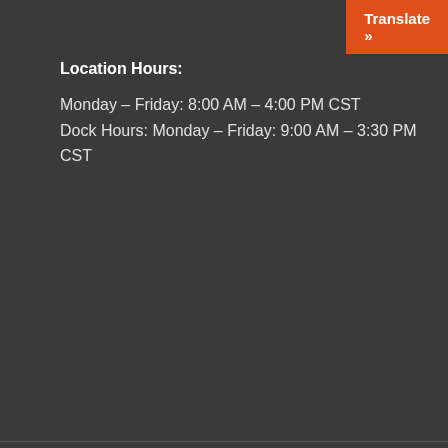Translate »
Location Hours:
Monday – Friday: 8:00 AM – 4:00 PM CST
Dock Hours: Monday – Friday: 9:00 AM – 3:30 PM CST
FIND US